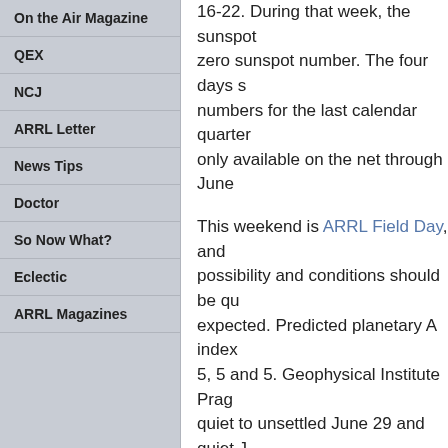On the Air Magazine
QEX
NCJ
ARRL Letter
News Tips
Doctor
So Now What?
Eclectic
ARRL Magazines
16-22. During that week, the sunspot… zero sunspot number. The four days s… numbers for the last calendar quarter… only available on the net through June…
This weekend is ARRL Field Day, and… possibility and conditions should be qu… expected. Predicted planetary A index… 5, 5 and 5. Geophysical Institute Prag… quiet to unsettled June 29 and quiet J… 19 through 25 were 11, 11, 11, 11, 0,… was 64.9, 65.2, 64.8, 65.4, 65.3, 65.8… planetary A indices were 6, 11, 5, 4, 3… latitude A indices were 5, 8, 4, 2, 2, 3…
Ken Standard, AD5XJ, of Houma, Lou… dynamic indicators available here. Wh… areas, that is better than when they ar… figuring out what indication each has f… data on these indicators is scarce and…
The first figure, the Magnetic Field Bz… Interplanetary Magnetic Field that wo…